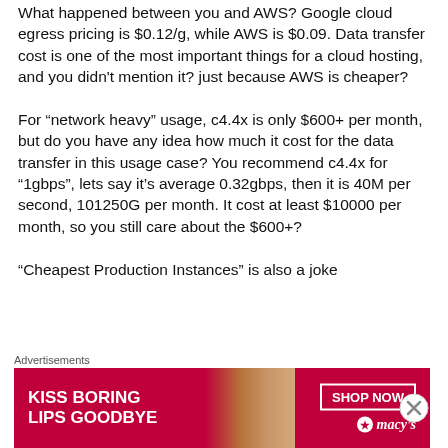What happened between you and AWS? Google cloud egress pricing is $0.12/g, while AWS is $0.09. Data transfer cost is one of the most important things for a cloud hosting, and you didn't mention it? just because AWS is cheaper?
For “network heavy” usage, c4.4x is only $600+ per month, but do you have any idea how much it cost for the data transfer in this usage case? You recommend c4.4x for “1gbps”, lets say it’s average 0.32gbps, then it is 40M per second, 101250G per month. It cost at least $10000 per month, so you still care about the $600+?
“Cheapest Production Instances” is also a joke
[Figure (photo): Advertisement banner: Macy's lip product ad with text 'KISS BORING LIPS GOODBYE', a model's face with red lips, SHOP NOW button, and Macy's logo with star]